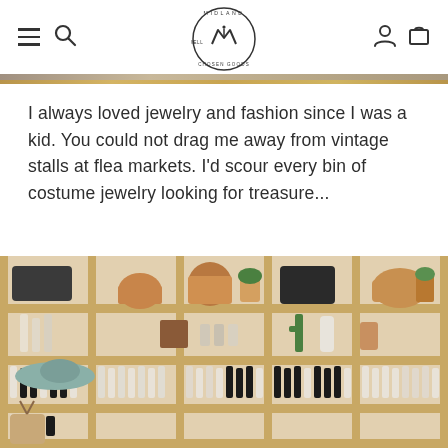Midland Well Chosen Goods — navigation header with hamburger, search, logo, account, cart icons
[Figure (photo): Partial cropped image strip visible at top, warm tan/beige tones]
I always loved jewelry and fashion since I was a kid. You could not drag me away from vintage stalls at flea markets. I'd scour every bin of costume jewelry looking for treasure...
[Figure (photo): Interior of a boutique store showing wooden shelving units filled with various products including bags, baskets, hats, skincare bottles, and home goods. A straw hat hangs on the left side. Warm, natural light fills the space.]